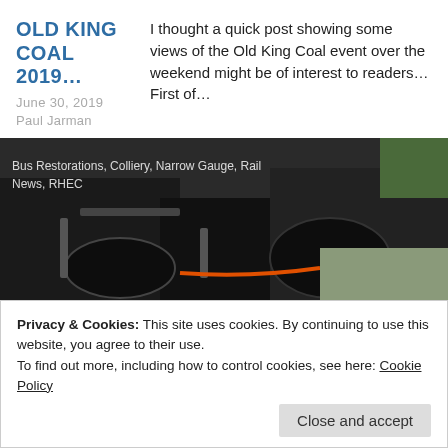OLD KING COAL 2019…
June 30, 2019
Paul Jarman
I thought a quick post showing some views of the Old King Coal event over the weekend might be of interest to readers… First of…
[Figure (photo): Close-up photograph of old industrial/railway machinery, dark metal components. Overlaid text tags: 'Bus Restorations, Colliery, Narrow Gauge, Rail, News, RHEC']
T&I NEWS 15 2019…
June 28, 2019
There has been plenty to report on the blog lately – and this week is no different!  Anyone able to visit this coming weekend can
Privacy & Cookies: This site uses cookies. By continuing to use this website, you agree to their use.
To find out more, including how to control cookies, see here: Cookie Policy
Close and accept